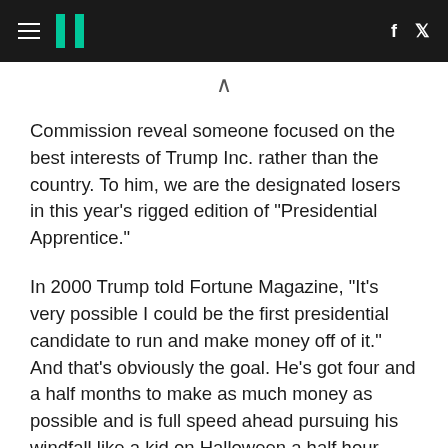HuffPost navigation header with hamburger menu, logo, Facebook and Twitter icons
Commission reveal someone focused on the best interests of Trump Inc. rather than the country. To him, we are the designated losers in this year's rigged edition of "Presidential Apprentice."
In 2000 Trump told Fortune Magazine, "It's very possible I could be the first presidential candidate to run and make money off of it." And that's obviously the goal. He's got four and a half months to make as much money as possible and is full speed ahead pursuing his windfall like a kid on Halloween a half hour before curfew.